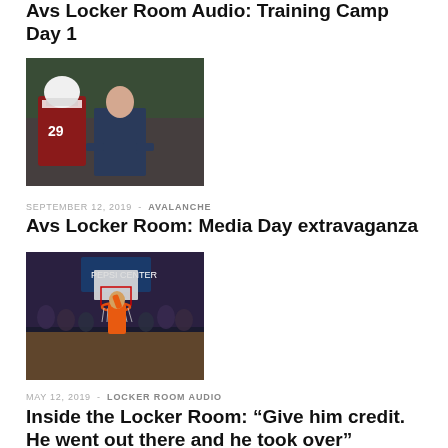Avs Locker Room Audio: Training Camp Day 1
[Figure (photo): Hockey player wearing #29 jersey talking with a man in a suit, Colorado Avalanche context]
SEPTEMBER 12, 2019 - AVALANCHE
Avs Locker Room: Media Day extravaganza
[Figure (photo): Basketball arena scene with player dunking or shooting near the basket, crowd in background]
MAY 12, 2019 - LOCKER ROOM AUDIO
Inside the Locker Room: “Give him credit. He went out there and he took over”